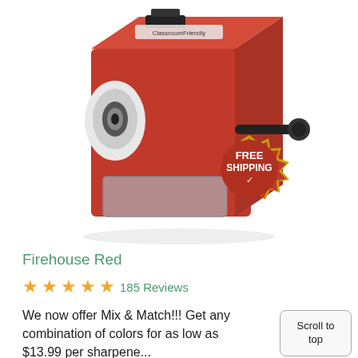[Figure (photo): Red manual pencil sharpener (Firehouse Red color) with a black handle on the right side, white pencil entry hole on left front, clear shaving collection drawer at bottom, and a red/gold 'FREE SHIPPING' badge overlaid on lower right]
Firehouse Red
★★★★★ 185 Reviews
We now offer Mix & Match!!! Get any combination of colors for as low as $13.99 per sharpene...
Scroll to top